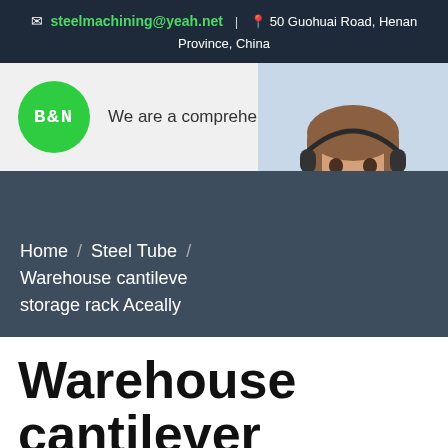steelmachining@yeah.net | 50 Guohuai Road, Henan Province, China
We are a comprehensive steel machining service platform
[Figure (logo): B&N green circle logo]
[Figure (photo): Customer service representative with headset, 7X24 Online chat widget with Hello,may I help you? and Get Latest Price button]
Home / Steel Tube / Warehouse cantilever storage rack Aceally
Warehouse cantilever